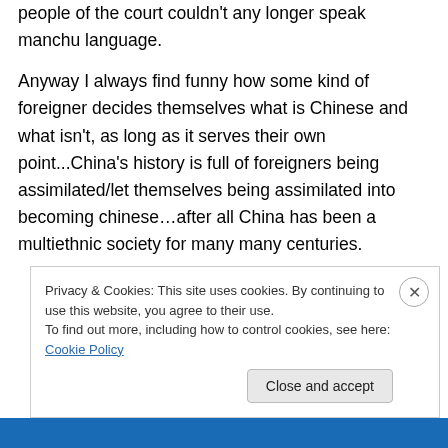people of the court couldn't any longer speak manchu language.
Anyway I always find funny how some kind of foreigner decides themselves what is Chinese and what isn't, as long as it serves their own point...China's history is full of foreigners being assimilated/let themselves being assimilated into becoming chinese…after all China has been a multiethnic society for many many centuries.
Privacy & Cookies: This site uses cookies. By continuing to use this website, you agree to their use.
To find out more, including how to control cookies, see here: Cookie Policy
Close and accept